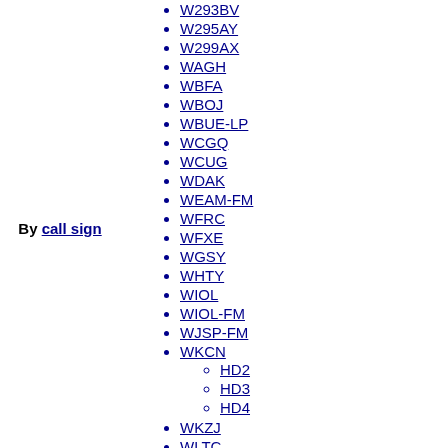By call sign
W293BV
W295AY
W299AX
WAGH
WBFA
WBOJ
WBUE-LP
WCGQ
WCUG
WDAK
WEAM-FM
WFRC
WFXE
WGSY
WHTY
WIOL
WIOL-FM
WJSP-FM
WKCN
HD2
HD3
HD4
WKZJ
WLTC
HD2